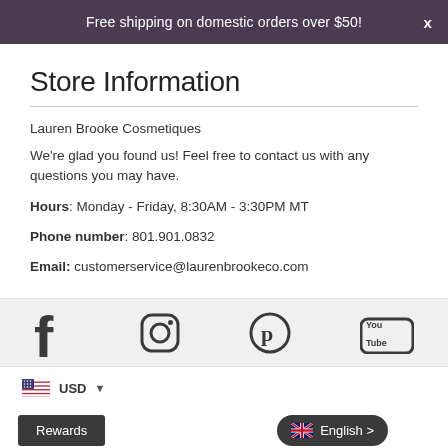Free shipping on domestic orders over $50!
Store Information
Lauren Brooke Cosmetiques
We're glad you found us! Feel free to contact us with any questions you may have.
Hours: Monday - Friday, 8:30AM - 3:30PM MT
Phone number: 801.901.0832
Email: customerservice@laurenbrookeco.com
[Figure (other): Social media icons: Facebook, Instagram, Pinterest, YouTube]
USD
Rewards
English